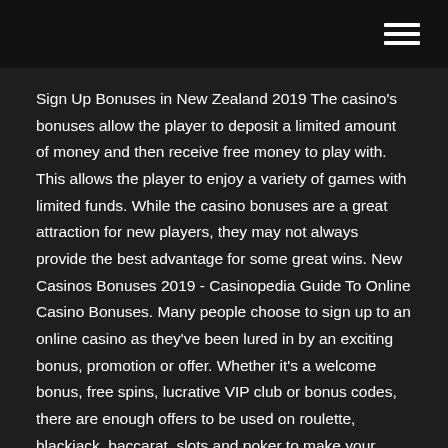Sign Up Bonuses in New Zealand 2019 The casino's bonuses allow the player to deposit a limited amount of money and then receive free money to play with. This allows the player to enjoy a variety of games with limited funds. While the casino bonuses are a great attraction for new players, they may not always provide the best advantage for some great wins. New Casinos Bonuses 2019 - Casinopedia Guide To Online Casino Bonuses. Many people choose to sign up to an online casino as they've been lured in by an exciting bonus, promotion or offer. Whether it's a welcome bonus, free spins, lucrative VIP club or bonus codes, there are enough offers to be used on roulette, blackjack, baccarat, slots and poker to make your head spin. New Casinos UK: The Best New Casino Sites UK © New Casinos UK